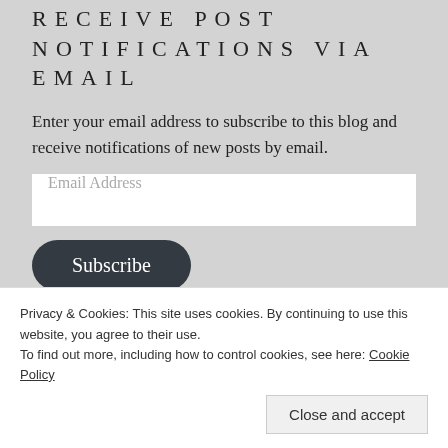RECEIVE POST NOTIFICATIONS VIA EMAIL
Enter your email address to subscribe to this blog and receive notifications of new posts by email.
Email Address
Subscribe
Privacy & Cookies: This site uses cookies. By continuing to use this website, you agree to their use.
To find out more, including how to control cookies, see here: Cookie Policy
Close and accept